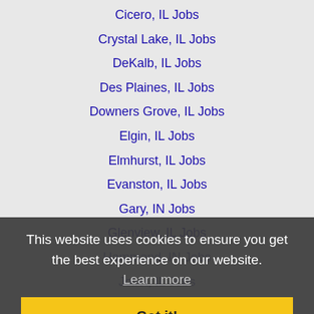Cicero, IL Jobs
Crystal Lake, IL Jobs
DeKalb, IL Jobs
Des Plaines, IL Jobs
Downers Grove, IL Jobs
Elgin, IL Jobs
Elmhurst, IL Jobs
Evanston, IL Jobs
Gary, IN Jobs
Glenview, IL Jobs
Hammond, IN Jobs
Joliet, IL Jobs
Janesville, WI Jobs
Joliet, IL Jobs
Kenosha, WI Jobs
Lombard, IL Jobs
Madison, WI Jobs
Milwaukee, WI Jobs
This website uses cookies to ensure you get the best experience on our website. Learn more
Got it!